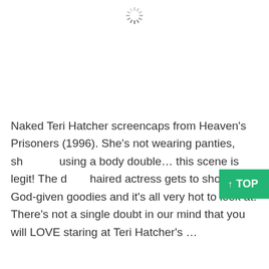[Figure (other): Loading spinner icon centered near top of page]
Naked Teri Hatcher screencaps from Heaven's Prisoners (1996). She's not wearing panties, sh... using a body double… this scene is legit! The d... haired actress gets to show her God-given goodies and it's all very hot to look at. There's not a single doubt in our mind that you will LOVE staring at Teri Hatcher's …